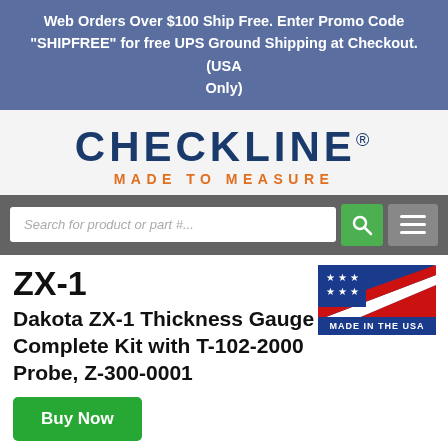Web Orders Over $100 Ship Free. Enter Promo Code "SHIPFREE" for free UPS Ground Shipping at Checkout. (USA Only)
[Figure (logo): Checkline Made To Measure logo — bold dark blue CHECKLINE text with registered trademark, orange MADE TO MEASURE tagline below]
[Figure (screenshot): Search bar with placeholder text 'Search for product or part #...', green search button with magnifying glass icon, and gray hamburger menu button]
ZX-1
Dakota ZX-1 Thickness Gauge Complete Kit with T-102-2000 Probe, Z-300-0001
[Figure (logo): Made in the USA badge — red white and blue with stars and stripes, text MADE IN THE USA]
Buy Now
[Figure (photo): Partial view of a Dakota ZX-1 thickness gauge instrument, silver/metallic device]